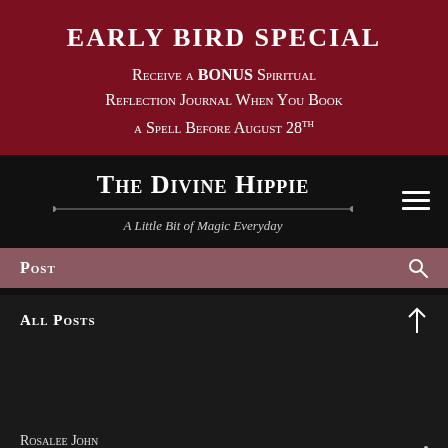EARLY BIRD SPECIAL
Receive a BONUS Spiritual Reflection Journal When You Book a Spell Before August 28th
The Divine Hippie — A Little Bit of Magic Everyday
Post
All Posts
Rosalee John
Dec 6, 2021  •  4 min